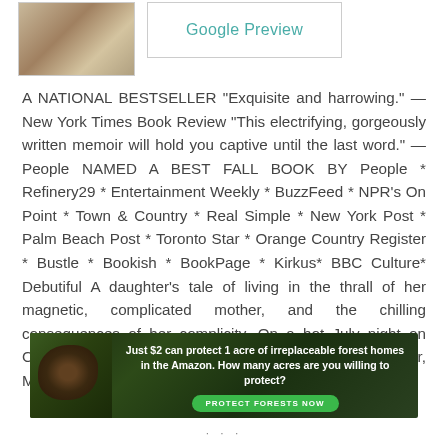[Figure (photo): Partial book cover image at top left]
Google Preview
A NATIONAL BESTSELLER "Exquisite and harrowing." — New York Times Book Review "This electrifying, gorgeously written memoir will hold you captive until the last word." —People NAMED A BEST FALL BOOK BY People * Refinery29 * Entertainment Weekly * BuzzFeed * NPR's On Point * Town & Country * Real Simple * New York Post * Palm Beach Post * Toronto Star * Orange Country Register * Bustle * Bookish * BookPage * Kirkus* BBC Culture* Debutiful A daughter's tale of living in the thrall of her magnetic, complicated mother, and the chilling consequences of her complicity. On a hot July night on Cape Cod when Adrienne was fourteen, her mother, Malabar, woke her at midnight with five simple
[Figure (photo): Advertisement banner with animal image and text: Just $2 can protect 1 acre of irreplaceable forest homes in the Amazon. How many acres are you willing to protect? PROTECT FORESTS NOW]